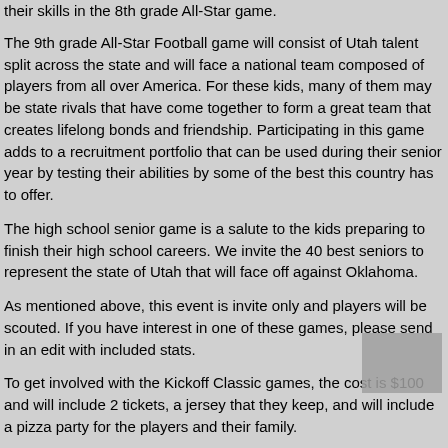their skills in the 8th grade All-Star game.
The 9th grade All-Star Football game will consist of Utah talent split across the state and will face a national team composed of players from all over America. For these kids, many of them may be state rivals that have come together to form a great team that creates lifelong bonds and friendship. Participating in this game adds to a recruitment portfolio that can be used during their senior year by testing their abilities by some of the best this country has to offer.
The high school senior game is a salute to the kids preparing to finish their high school careers. We invite the 40 best seniors to represent the state of Utah that will face off against Oklahoma.
As mentioned above, this event is invite only and players will be scouted. If you have interest in one of these games, please send in an edit with included stats.
To get involved with the Kickoff Classic games, the cost is $100 and will include 2 tickets, a jersey that they keep, and will include a pizza party for the players and their family.
...additional text continues...